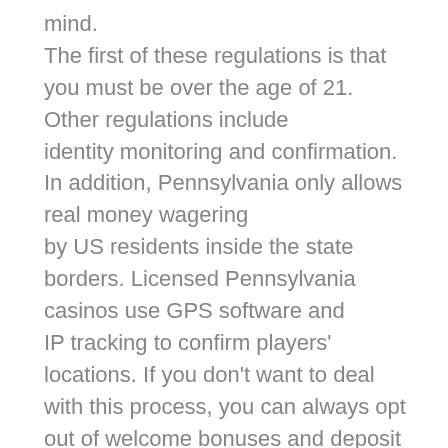mind. The first of these regulations is that you must be over the age of 21. Other regulations include identity monitoring and confirmation. In addition, Pennsylvania only allows real money wagering by US residents inside the state borders. Licensed Pennsylvania casinos use GPS software and IP tracking to confirm players' locations. If you don't want to deal with this process, you can always opt out of welcome bonuses and deposit using bank transfer. Before a legal online casino can operate in Pennsylvania, it must have an existing license or find a Pennsylvania gambling venue. Once licensed, they must pay hefty taxes on their